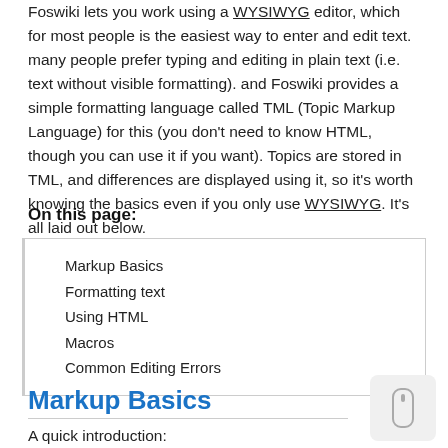Foswiki lets you work using a WYSIWYG editor, which for most people is the easiest way to enter and edit text. many people prefer typing and editing in plain text (i.e. text without visible formatting). and Foswiki provides a simple formatting language called TML (Topic Markup Language) for this (you don't need to know HTML, though you can use it if you want). Topics are stored in TML, and differences are displayed using it, so it's worth knowing the basics even if you only use WYSIWYG. It's all laid out below.
On this page:
Markup Basics
Formatting text
Using HTML
Macros
Common Editing Errors
Markup Basics
A quick introduction: